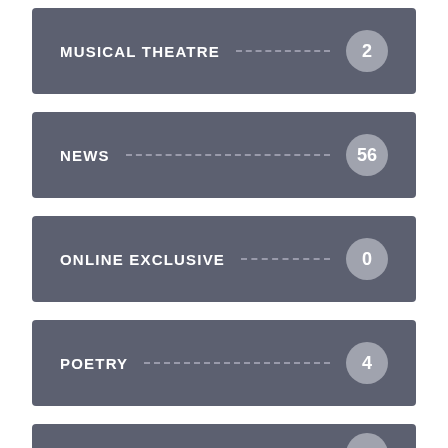MUSICAL THEATRE 2
NEWS 56
ONLINE EXCLUSIVE 0
POETRY 4
POETRY (partial)